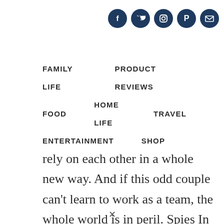[Figure (illustration): Social media icons: Facebook, Twitter, Instagram, Pinterest, Email — circular dark navy buttons in top right]
FAMILY LIFE   PRODUCT REVIEWS
FOOD   HOME LIFE   TRAVEL
ENTERTAINMENT   SHOP
rely on each other in a whole new way. And if this odd couple can't learn to work as a team, the whole world is in peril. Spies In Disguise is an